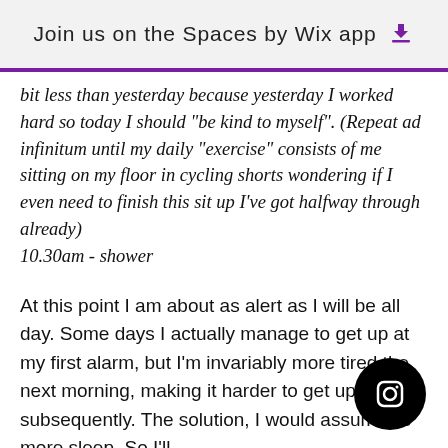Join us on the Spaces by Wix app
bit less than yesterday because yesterday I worked hard so today I should "be kind to myself". (Repeat ad infinitum until my daily "exercise" consists of me sitting on my floor in cycling shorts wondering if I even need to finish this sit up I've got halfway through already)
10.30am - shower
At this point I am about as alert as I will be all day. Some days I actually manage to get up at my first alarm, but I'm invariably more tired the next morning, making it harder to get up on time subsequently. The solution, I would assume, is more sleep. So I'll